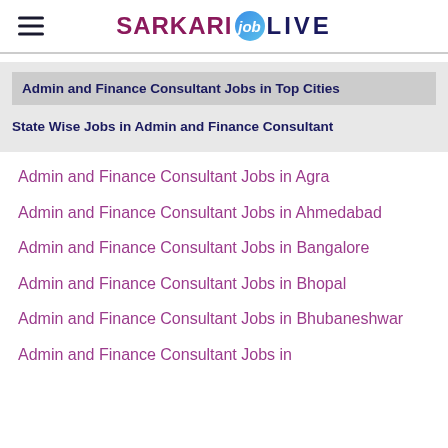SARKARI job LIVE
Admin and Finance Consultant Jobs in Top Cities
State Wise Jobs in Admin and Finance Consultant
Admin and Finance Consultant Jobs in Agra
Admin and Finance Consultant Jobs in Ahmedabad
Admin and Finance Consultant Jobs in Bangalore
Admin and Finance Consultant Jobs in Bhopal
Admin and Finance Consultant Jobs in Bhubaneshwar
Admin and Finance Consultant Jobs in